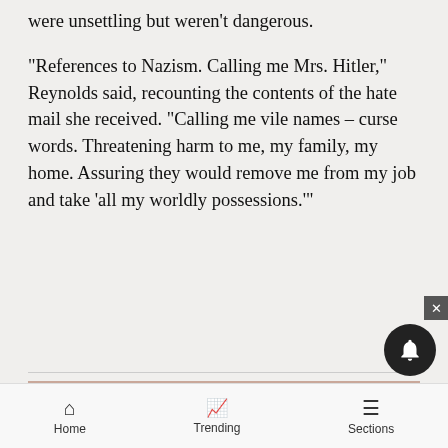were unsettling but weren't dangerous.
“References to Nazism. Calling me Mrs. Hitler,” Reynolds said, recounting the contents of the hate mail she received. “Calling me vile names – curse words. Threatening harm to me, my family, my home. Assuring they would remove me from my job and take ‘all my worldly possessions.’”
[Figure (photo): A photograph showing a sunset or dusk sky with pink, salmon, and peach-toned clouds, and a dark silhouetted landscape at the bottom.]
Home   Trending   Sections